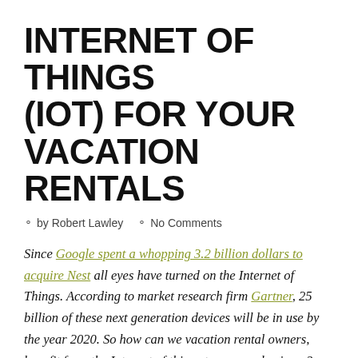INTERNET OF THINGS (IOT) FOR YOUR VACATION RENTALS
by Robert Lawley   No Comments
Since Google spent a whopping 3.2 billion dollars to acquire Nest all eyes have turned on the Internet of Things. According to market research firm Gartner, 25 billion of these next generation devices will be in use by the year 2020. So how can we vacation rental owners, benefit from the Internet of things to run our business? Read on to see how these devices can make you stand out from the crowd while reducing